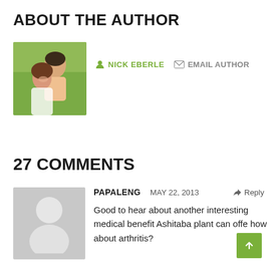ABOUT THE AUTHOR
[Figure (photo): Photo of Nick Eberle, a couple outdoors, man and woman smiling]
NICK EBERLE   EMAIL AUTHOR
27 COMMENTS
[Figure (illustration): Default grey avatar silhouette placeholder for commenter Papaleng]
PAPALENG   MAY 22, 2013   Reply
Good to hear about another interesting medical benefit Ashitaba plant can offe how about arthritis?